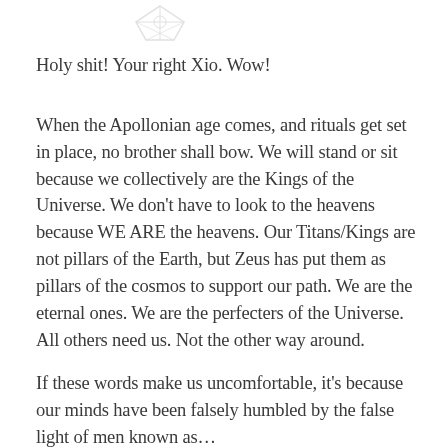[Figure (logo): Faint decorative logo or emblem at top center of page]
Holy shit! Your right Xio. Wow!
When the Apollonian age comes, and rituals get set in place, no brother shall bow. We will stand or sit because we collectively are the Kings of the Universe. We don't have to look to the heavens because WE ARE the heavens. Our Titans/Kings are not pillars of the Earth, but Zeus has put them as pillars of the cosmos to support our path. We are the eternal ones. We are the perfecters of the Universe. All others need us. Not the other way around.
If these words make us uncomfortable, it's because our minds have been falsely humbled by the false light of men known as…